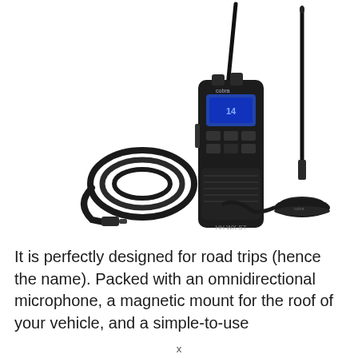[Figure (photo): A Cobra HH WX ST handheld CB radio/walkie-talkie shown upright with its built-in antenna, accompanied by a coiled black cable with a BNC connector and a separate magnetic mount antenna on a round base, all against a white background.]
It is perfectly designed for road trips (hence the name). Packed with an omnidirectional microphone, a magnetic mount for the roof of your vehicle, and a simple-to-use
x